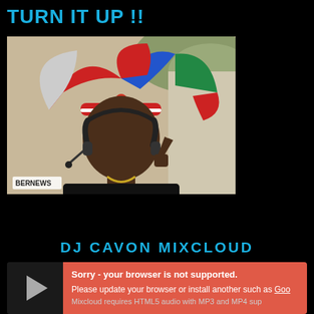TURN IT UP !!
[Figure (photo): Man wearing a colorful umbrella hat making a peace sign, wearing headphones around his neck and a Bermuda t-shirt. BERNEWS watermark visible in bottom left.]
DJ CAVON MIXCLOUD
Sorry - your browser is not supported. Please update your browser or install another such as Goo Mixcloud requires HTML5 audio with MP3 and MP4 sup